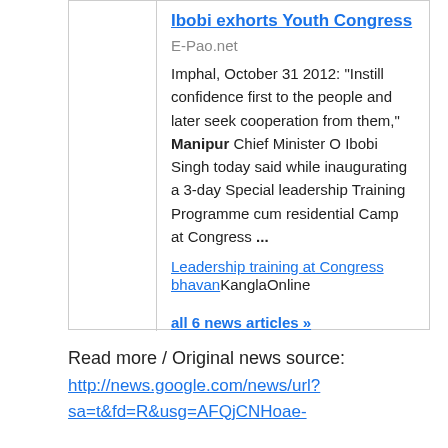Ibobi exhorts Youth Congress
E-Pao.net
Imphal, October 31 2012: "Instill confidence first to the people and later seek cooperation from them," Manipur Chief Minister O Ibobi Singh today said while inaugurating a 3-day Special leadership Training Programme cum residential Camp at Congress ...
Leadership training at Congress bhavanKanglaOnline
all 6 news articles »
Read more / Original news source:
http://news.google.com/news/url?sa=t&fd=R&usg=AFQjCNHoae-